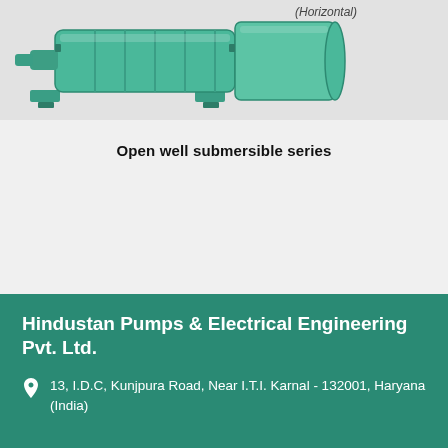[Figure (photo): Horizontal open well submersible pump — a green-painted multi-stage centrifugal pump shown in horizontal orientation with the label '(Horizontal)' visible at upper right]
Open well submersible series
Hindustan Pumps & Electrical Engineering Pvt. Ltd.
13, I.D.C, Kunjpura Road, Near I.T.I. Karnal - 132001, Haryana (India)